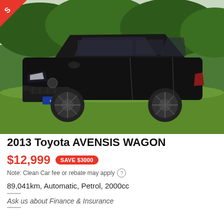[Figure (photo): Black 2013 Toyota Avensis Wagon parked on grass with green hedge background, dealer plate visible, red sale badge in top-left corner]
2013 Toyota AVENSIS WAGON
$12,999  SAVE $3000
Note: Clean Car fee or rebate may apply
89,041km, Automatic, Petrol, 2000cc
Ask us about Finance & Insurance